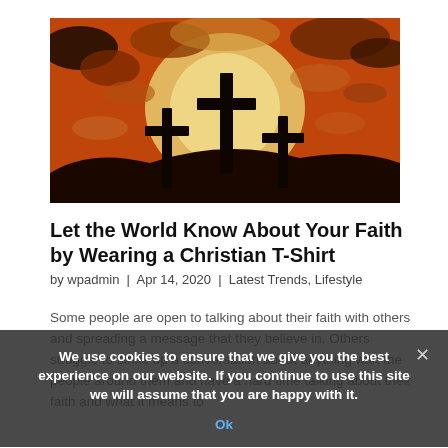[Figure (illustration): Stylized graphic illustration of three Christian crosses on a hill silhouetted against a dramatic orange and yellow sunset sky with clouds]
Let the World Know About Your Faith by Wearing a Christian T-Shirt
by wpadmin | Apr 14, 2020 | Latest Trends, Lifestyle
Some people are open to talking about their faith with others and spreading a message that they believe in. Others struggle to strike up a conversation about anything with the people around them and have a hard time talking about their faith and what it means to
We use cookies to ensure that we give you the best experience on our website. If you continue to use this site we will assume that you are happy with it.